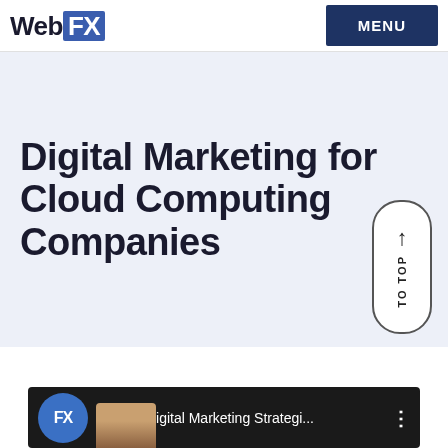WebFX | MENU
Digital Marketing for Cloud Computing Companies
[Figure (screenshot): Scroll-to-top button with upward arrow and 'TO TOP' label in vertical text, white pill-shaped button with dark border]
[Figure (screenshot): Video thumbnail strip showing FX logo icon and text '4 Core Digital Marketing Strategi...' with a person visible at bottom left]